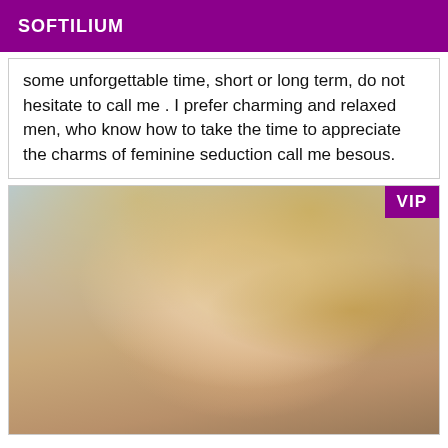SOFTILIUM
some unforgettable time, short or long term, do not hesitate to call me . I prefer charming and relaxed men, who know how to take the time to appreciate the charms of feminine seduction call me besous.
[Figure (photo): Portrait photo of a young blonde woman with long hair, looking at camera, VIP badge in top right corner]